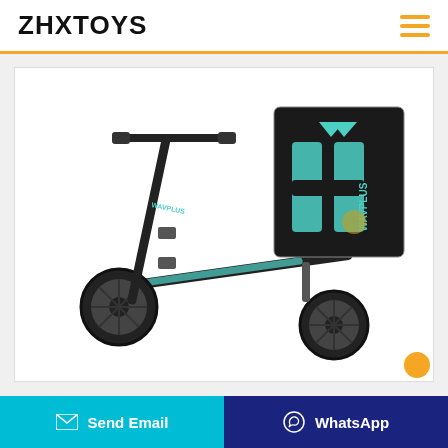ZHXTOYS
[Figure (photo): Black kick scooter with teal/turquoise 'WAVPLUS' branding on the deck, large wheels, foldable handlebar. Inset image shows the deck grip tape with WAVPLUS logo close-up.]
Send Email
WhatsApp